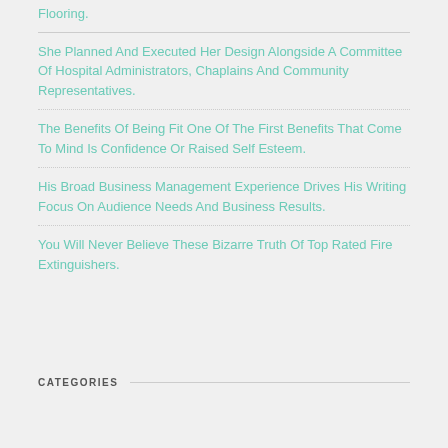Flooring.
She Planned And Executed Her Design Alongside A Committee Of Hospital Administrators, Chaplains And Community Representatives.
The Benefits Of Being Fit One Of The First Benefits That Come To Mind Is Confidence Or Raised Self Esteem.
His Broad Business Management Experience Drives His Writing Focus On Audience Needs And Business Results.
You Will Never Believe These Bizarre Truth Of Top Rated Fire Extinguishers.
CATEGORIES